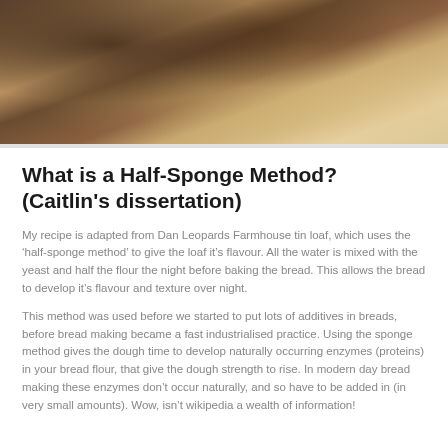[Figure (photo): Close-up photo of a sliced loaf of bread with dark spots (possibly raisins or seeds) on a wooden surface, showing the bread's texture and crust]
What is a Half-Sponge Method? (Caitlin's dissertation)
My recipe is adapted from Dan Leopards Farmhouse tin loaf, which uses the 'half-sponge method' to give the loaf it's flavour. All the water is mixed with the yeast and half the flour the night before baking the bread. This allows the bread to develop it's flavour and texture over night.
This method was used before we started to put lots of additives in breads, before bread making became a fast industrialised practice. Using the sponge method gives the dough time to develop naturally occurring enzymes (proteins) in your bread flour, that give the dough strength to rise. In modern day bread making these enzymes don't occur naturally, and so have to be added in (in very small amounts). Wow, isn't wikipedia a wealth of information!